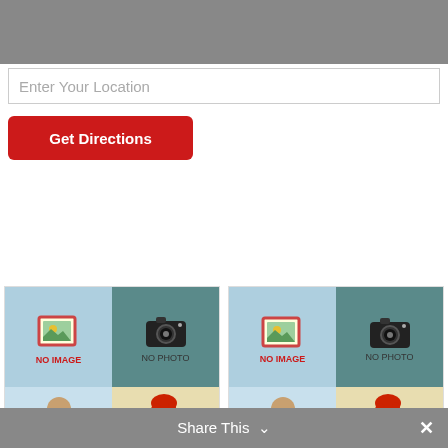[Figure (screenshot): Gray header bar at top]
Enter Your Location
Get Directions
[Figure (screenshot): Card: How You can En... - No image, No photo placeholders, person icons, 0 stars, No Reviews, Accounting Service, Bookmark]
[Figure (screenshot): Card: Things to Consi... - No image, No photo placeholders, person icons, 0 stars, No Reviews, Accounting Service, Bookmark]
Share This ✓